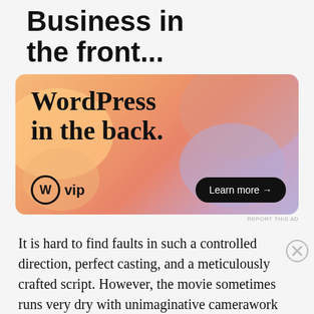Business in the front...
[Figure (illustration): WordPress VIP advertisement banner with colorful gradient blobs (orange, salmon, lavender). Shows 'WordPress in the back.' text with WordPress VIP logo and 'Learn more →' button.]
It is hard to find faults in such a controlled direction, perfect casting, and a meticulously crafted script. However, the movie sometimes runs very dry with unimaginative camerawork and too theatrical,
Advertisements